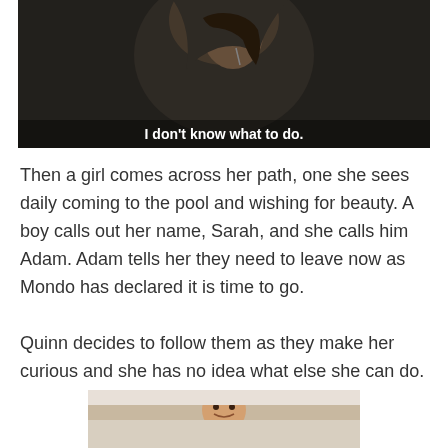[Figure (photo): A young woman with a hood, crying, with subtitle text 'I don't know what to do.' overlaid at the bottom]
Then a girl comes across her path, one she sees daily coming to the pool and wishing for beauty. A boy calls out her name, Sarah, and she calls him Adam. Adam tells her they need to leave now as Mondo has declared it is time to go.
Quinn decides to follow them as they make her curious and she has no idea what else she can do.
[Figure (photo): A smiling man (appears to be a TV/film still) at the bottom of the page]